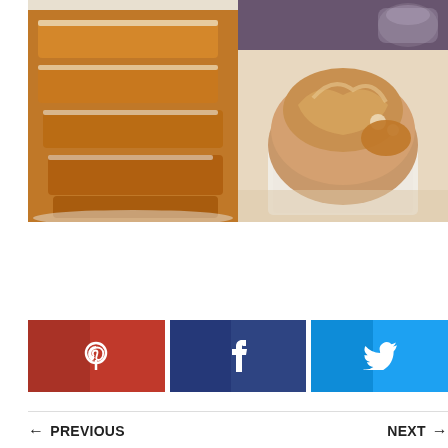[Figure (photo): Photo collage of baked goods: left side shows sliced pumpkin bread with white glaze on a white plate; top right shows a purple/dark background with a glass; bottom right shows a close-up of a muffin with cream cheese swirl in a paper liner.]
[Figure (infographic): Three social media share buttons: Pinterest (red), Facebook (dark blue), Twitter (light blue), each with their respective icons (P, f, bird).]
← PREVIOUS
NEXT →